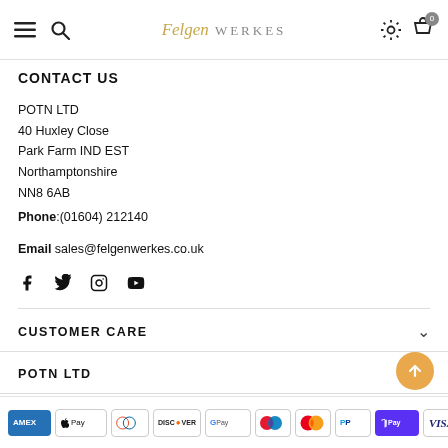[Figure (screenshot): Website header navigation bar with hamburger menu, search icon, Felgen Werkes logo (italic gold/grey text), settings gear icon, and shopping cart with badge showing 0]
CONTACT US
POTN LTD
40 Huxley Close
Park Farm IND EST
Northamptonshire
NN8 6AB
Phone: (01604) 212140
Email sales@felgenwerkes.co.uk
[Figure (infographic): Social media icons: Facebook, Twitter, Instagram, YouTube]
CUSTOMER CARE
POTN LTD
[Figure (infographic): Payment method icons: American Express, Apple Pay, Diners Club, Discover, Google Pay, Maestro, Mastercard, PayPal, Shopify Pay, Visa]